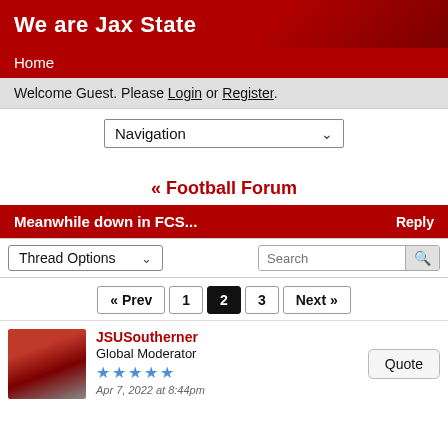We are Jax State
Home
Welcome Guest. Please Login or Register.
Navigation (dropdown)
« Football Forum
Meanwhile down in FCS...   Reply
Thread Options (dropdown)   Search
« Prev   1   2   3   Next »
JSUSoutherner
Global Moderator
★★★★★
Apr 7, 2022 at 8:44pm
Quote